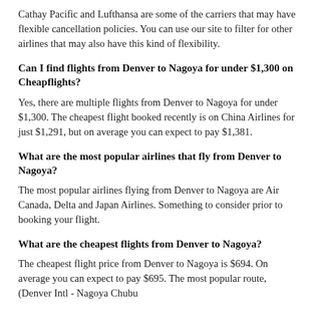Cathay Pacific and Lufthansa are some of the carriers that may have flexible cancellation policies. You can use our site to filter for other airlines that may also have this kind of flexibility.
Can I find flights from Denver to Nagoya for under $1,300 on Cheapflights?
Yes, there are multiple flights from Denver to Nagoya for under $1,300. The cheapest flight booked recently is on China Airlines for just $1,291, but on average you can expect to pay $1,381.
What are the most popular airlines that fly from Denver to Nagoya?
The most popular airlines flying from Denver to Nagoya are Air Canada, Delta and Japan Airlines. Something to consider prior to booking your flight.
What are the cheapest flights from Denver to Nagoya?
The cheapest flight price from Denver to Nagoya is $694. On average you can expect to pay $695. The most popular route, (Denver Intl - Nagoya Chubu